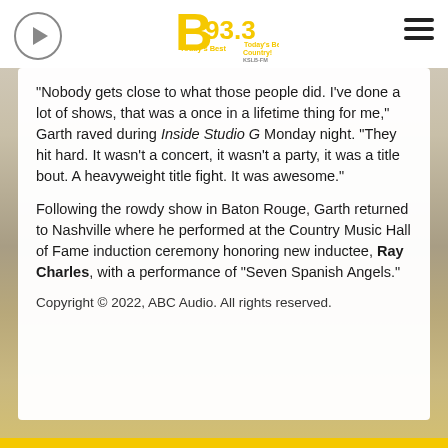[Figure (logo): B93.3 Today's Best Country KSLB-FM radio station logo in yellow with black text]
"Nobody gets close to what those people did. I've done a lot of shows, that was a once in a lifetime thing for me," Garth raved during Inside Studio G Monday night. "They hit hard. It wasn't a concert, it wasn't a party, it was a title bout. A heavyweight title fight. It was awesome."
Following the rowdy show in Baton Rouge, Garth returned to Nashville where he performed at the Country Music Hall of Fame induction ceremony honoring new inductee, Ray Charles, with a performance of "Seven Spanish Angels."
Copyright © 2022, ABC Audio. All rights reserved.